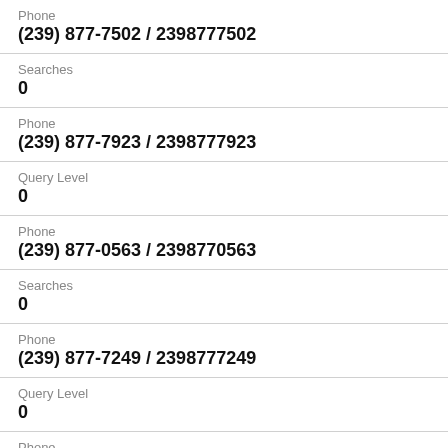Phone
(239) 877-7502 / 2398777502
Searches
0
Phone
(239) 877-7923 / 2398777923
Query Level
0
Phone
(239) 877-0563 / 2398770563
Searches
0
Phone
(239) 877-7249 / 2398777249
Query Level
0
Phone
(239) 877-4701 / 2398774701